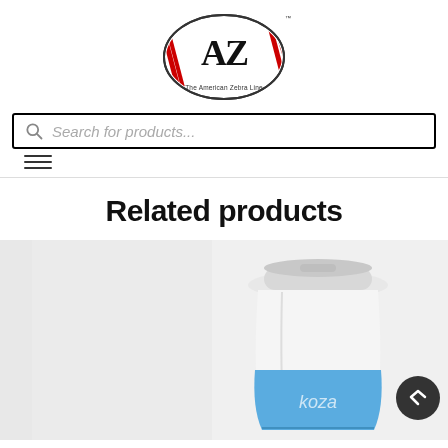[Figure (logo): American Zebra Line logo — oval shaped with 'AZ' letters and red/white/blue barber-pole stripes, text 'The American Zebra Line' around the bottom]
[Figure (screenshot): Search bar with magnifying glass icon and placeholder text 'Search for products...' followed by a hamburger menu icon (three horizontal lines)]
Related products
[Figure (photo): Two product thumbnail images side by side: left shows a blank gray rectangle (product placeholder), right shows a coffee cup with white lid and blue neoprene sleeve cooler]